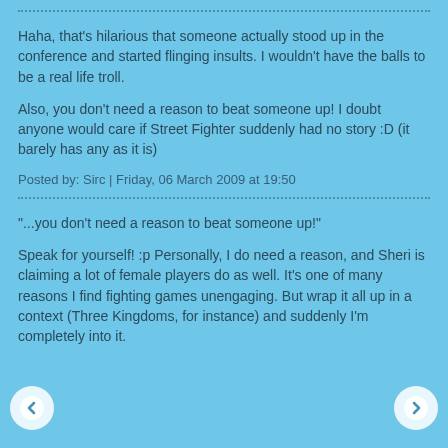Haha, that's hilarious that someone actually stood up in the conference and started flinging insults. I wouldn't have the balls to be a real life troll.

Also, you don't need a reason to beat someone up! I doubt anyone would care if Street Fighter suddenly had no story :D (it barely has any as it is)
Posted by: Sirc | Friday, 06 March 2009 at 19:50
"...you don't need a reason to beat someone up!"

Speak for yourself! :p Personally, I do need a reason, and Sheri is claiming a lot of female players do as well. It's one of many reasons I find fighting games unengaging. But wrap it all up in a context (Three Kingdoms, for instance) and suddenly I'm completely into it.